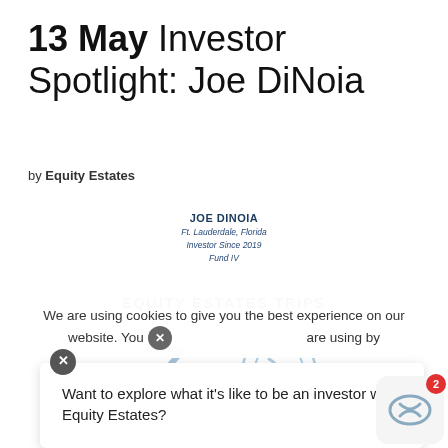13 May Investor Spotlight: Joe DiNoia
by Equity Estates
[Figure (infographic): Investor card showing JOE DINOIA, Ft. Lauderdale, Florida, Investor Since 2019, Fund IV]
EQUITY ESTATES TRIPS
[Figure (infographic): Large stylized italic number 7 next to a circular logo icon in light blue]
We are using cookies to give you the best experience on our website. You can find out more about which cookies we are using by
Want to explore what it's like to be an investor with Equity Estates?